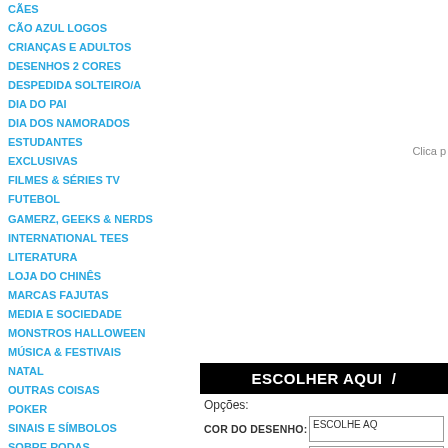CÃES
CÃO AZUL LOGOS
CRIANÇAS E ADULTOS
DESENHOS 2 CORES
DESPEDIDA SOLTEIRO/A
DIA DO PAI
DIA DOS NAMORADOS
ESTUDANTES
EXCLUSIVAS
FILMES & SÉRIES TV
FUTEBOL
GAMERZ, GEEKS & NERDS
INTERNATIONAL TEES
LITERATURA
LOJA DO CHINÊS
MARCAS FAJUTAS
MEDIA E SOCIEDADE
MONSTROS HALLOWEEN
MÚSICA & FESTIVAIS
NATAL
OUTRAS COISAS
POKER
SINAIS E SÍMBOLOS
SOBRE RODAS
SURF / SKATE / SKI
Clica p
ESCOLHER AQUI /
Opções:
COR DO DESENHO: ESCOLHE AQ
T-SHIRT UNISSEXO: ESCOLHE AQ